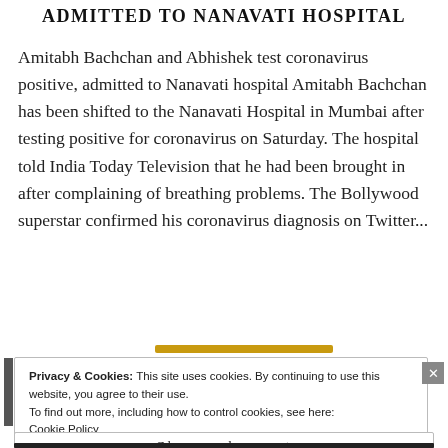ADMITTED TO NANAVATI HOSPITAL
Amitabh Bachchan and Abhishek test coronavirus positive, admitted to Nanavati hospital Amitabh Bachchan has been shifted to the Nanavati Hospital in Mumbai after testing positive for coronavirus on Saturday. The hospital told India Today Television that he had been brought in after complaining of breathing problems. The Bollywood superstar confirmed his coronavirus diagnosis on Twitter...
Privacy & Cookies: This site uses cookies. By continuing to use this website, you agree to their use.
To find out more, including how to control cookies, see here:
Cookie Policy
Close and accept